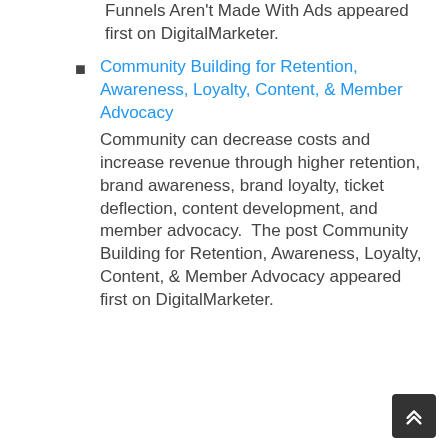Funnels Aren't Made With Ads appeared first on DigitalMarketer.
Community Building for Retention, Awareness, Loyalty, Content, & Member Advocacy
Community can decrease costs and increase revenue through higher retention, brand awareness, brand loyalty, ticket deflection, content development, and member advocacy.  The post Community Building for Retention, Awareness, Loyalty, Content, & Member Advocacy appeared first on DigitalMarketer.